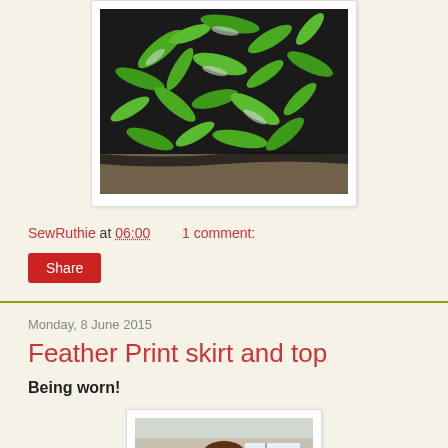[Figure (photo): A black fabric skirt with green and white feather/leaf print pattern, laid flat on a surface]
SewRuthie at 06:00    1 comment:
Share
Monday, 8 June 2015
Feather Print skirt and top
Being worn!
[Figure (photo): A woman with long brown hair and glasses wearing the feather print outfit, standing outside in front of a building with plants]